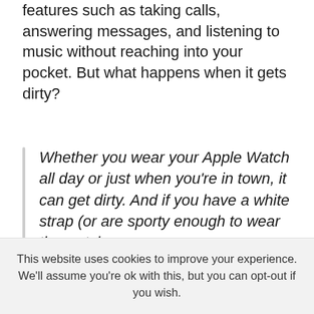features such as taking calls, answering messages, and listening to music without reaching into your pocket. But what happens when it gets dirty?
Whether you wear your Apple Watch all day or just when you're in town, it can get dirty. And if you have a white strap (or are sporty enough to wear the watch
This website uses cookies to improve your experience. We'll assume you're ok with this, but you can opt-out if you wish.